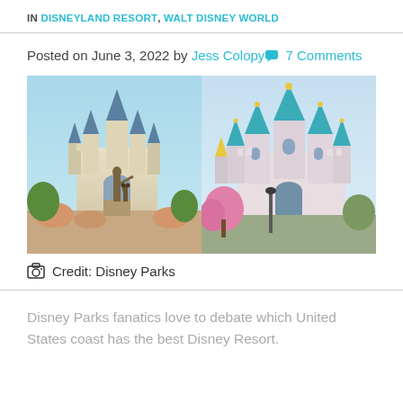IN DISNEYLAND RESORT, WALT DISNEY WORLD
Posted on June 3, 2022 by Jess Colopy 7 Comments
[Figure (photo): Two side-by-side photos of Disney castle parks. Left: Walt Disney World Cinderella Castle with Partners statue of Walt Disney and Mickey Mouse. Right: Disneyland Sleeping Beauty Castle with colorful spires and pink flowering trees.]
Credit: Disney Parks
Disney Parks fanatics love to debate which United States coast has the best Disney Resort.